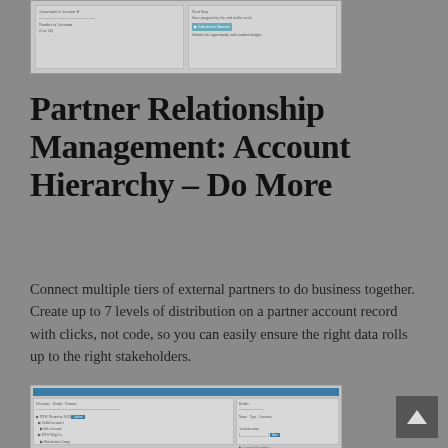[Figure (screenshot): A screenshot of a Salesforce-like CRM interface showing a form or record detail page with fields and highlighted sections]
Partner Relationship Management: Account Hierarchy Enhancements – Do More
Connect multiple tiers of external partners to do business together. Create up to 7 levels of distribution on a partner account record with clicks, not code, so you can easily ensure the right data rolls up to the right stakeholders.
[Figure (screenshot): A screenshot of a Salesforce Partner Relationship Management account hierarchy page showing hierarchical partner tiers in a table with a detail panel on the right]